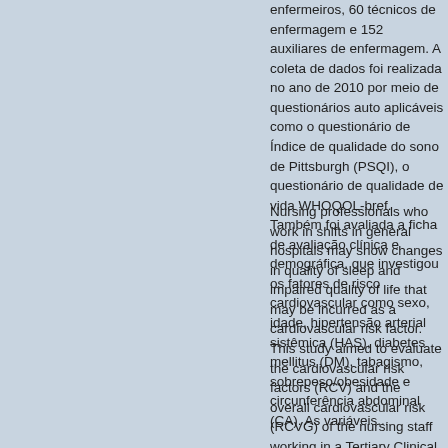enfermeiros, 60 técnicos de enfermagem e 152 auxiliares de enfermagem. A coleta de dados foi realizada no ano de 2010 por meio de questionários auto aplicáveis como o questionário de Índice de qualidade do sono de Pittsburgh (PSQI), o questionário de qualidade de vida WHOQOL-bref. Também foi avaliada a ficha de avaliação clínica e demográfica, que investigou os fatores de risco cardiovascular como sexo, idade, hipertensão arterial sistêmica (HAS), diabetes mellitus (DM), tabagismo, sobrepeso/obesidade e circunferência abdominal (CA). As variáveis...
Nursing professionals who work in shifts in general hospitals may show changes in quality of sleep and impaired quality of life that may be incurred as a cardiovascular risk factor. This study aimed to evaluate the cardiovascular risk factors (RCV) and the overall cardiovascular risk (RCVG) of the nursing staff working in a Tertiary Clinical Hospital and to study the outcomes of these associations with demographic characteristics and with the quality scores of life (QOL) and the quality of sleep. This is a prospective, transverse and observational study, conducted with the nursing staff of the Clinical Hospital, Medicine School of Botucatu. The sample size calculation took into account a total of 989 nursing professionals working at this Clinical Hospital, stratified by location, by adopting an alpha error of 5% and a prevalence of RCVG greater than 10% in 20 % of this population. Thus, the sample size was estimated at 250 participants distributed in 46